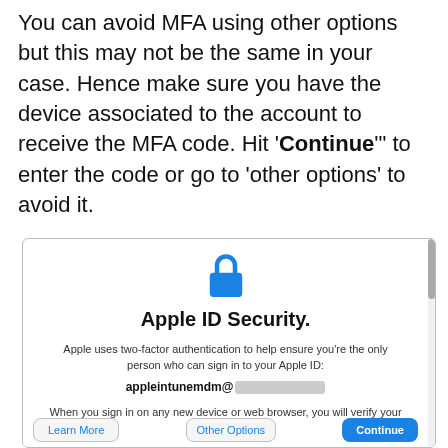You can avoid MFA using other options but this may not be the same in your case. Hence make sure you have the device associated to the account to receive the MFA code. Hit 'Continue'' to enter the code or go to 'other options' to avoid it.
[Figure (screenshot): Screenshot of Apple ID Security dialog showing a lock icon, title 'Apple ID Security.', description about two-factor authentication, a partially redacted email address 'appleintunemdm@...' and text about verifying identity. Bottom buttons: Learn More, Other Options, Continue.]